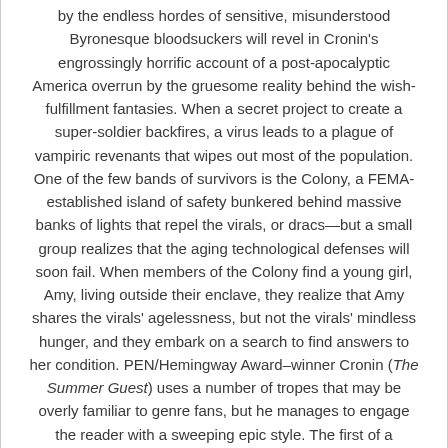by the endless hordes of sensitive, misunderstood Byronesque bloodsuckers will revel in Cronin's engrossingly horrific account of a post-apocalyptic America overrun by the gruesome reality behind the wish-fulfillment fantasies. When a secret project to create a super-soldier backfires, a virus leads to a plague of vampiric revenants that wipes out most of the population. One of the few bands of survivors is the Colony, a FEMA-established island of safety bunkered behind massive banks of lights that repel the virals, or dracs—but a small group realizes that the aging technological defenses will soon fail. When members of the Colony find a young girl, Amy, living outside their enclave, they realize that Amy shares the virals' agelessness, but not the virals' mindless hunger, and they embark on a search to find answers to her condition. PEN/Hemingway Award–winner Cronin (The Summer Guest) uses a number of tropes that may be overly familiar to genre fans, but he manages to engage the reader with a sweeping epic style. The first of a proposed trilogy, it's already under development by director Ripley Scott and the subject of much publicity